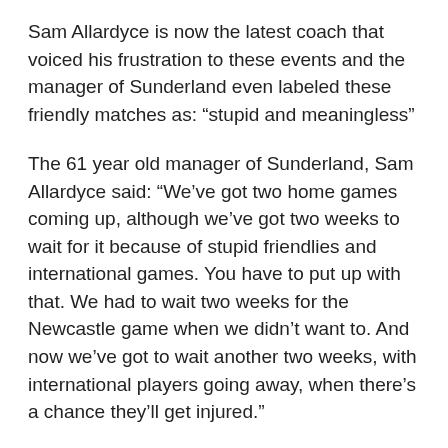Sam Allardyce is now the latest coach that voiced his frustration to these events and the manager of Sunderland even labeled these friendly matches as: “stupid and meaningless”
The 61 year old manager of Sunderland, Sam Allardyce said: “We’ve got two home games coming up, although we’ve got two weeks to wait for it because of stupid friendlies and international games. You have to put up with that. We had to wait two weeks for the Newcastle game when we didn’t want to. And now we’ve got to wait another two weeks, with international players going away, when there’s a chance they’ll get injured.”
“Part of the reason why we’re performing so well at the moment is we’ve kept most of the players fit since…